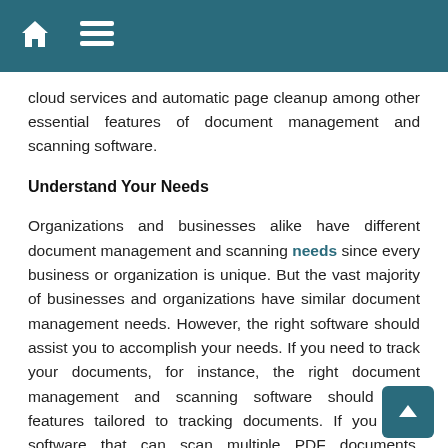[Home icon] [Menu icon]
cloud services and automatic page cleanup among other essential features of document management and scanning software.
Understand Your Needs
Organizations and businesses alike have different document management and scanning needs since every business or organization is unique. But the vast majority of businesses and organizations have similar document management needs. However, the right software should assist you to accomplish your needs. If you need to track your documents, for instance, the right document management and scanning software should offer features tailored to tracking documents. If you want software that can scan multiple PDF documents, ultimately the right software needs to be equipped with PDF scanning feature. Whatever your document management and scanning needs are, getting the